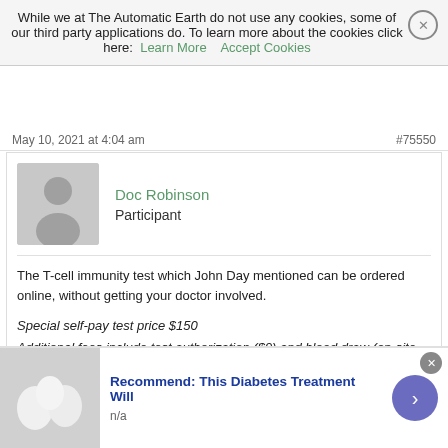While we at The Automatic Earth do not use any cookies, some of our third party applications do. To learn more about the cookies click here: Learn More  Accept Cookies
May 10, 2021 at 4:04 am  #75550
Doc Robinson
Participant
The T-cell immunity test which John Day mentioned can be ordered online, without getting your doctor involved.

Special self-pay test price $150
Additional fees include test authorization ($9) and blood draw (on-site lab: $60 or in-home: $140).
…
The T-Detect COVID test is currently not covered by health insurance. The T-Detect COVID test is FSA/HSA eligible.
[Figure (other): Advertisement banner: image of white eggs, title 'Recommend: This Diabetes Treatment Will', subtitle 'n/a', with a purple arrow button]